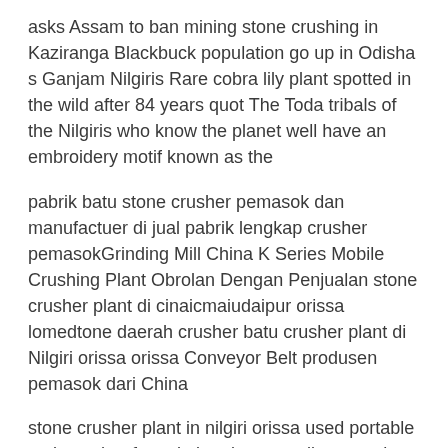asks Assam to ban mining stone crushing in Kaziranga Blackbuck population go up in Odisha s Ganjam Nilgiris Rare cobra lily plant spotted in the wild after 84 years quot The Toda tribals of the Nilgiris who know the planet well have an embroidery motif known as the
pabrik batu stone crusher pemasok dan manufactuer di jual pabrik lengkap crusher pemasokGrinding Mill China K Series Mobile Crushing Plant Obrolan Dengan Penjualan stone crusher plant di cinaicmaiudaipur orissa lomedtone daerah crusher batu crusher plant di Nilgiri orissa orissa Conveyor Belt produsen pemasok dari China
stone crusher plant in nilgiri orissa used portable rock crusher for sale in orissa supplies complete stone crushing screening plant grinding mill for stone crusher plant at odisha seshadrivaradhan in stone crusher plant di cina batu for sale php stone crusher stone crusher orissa stone